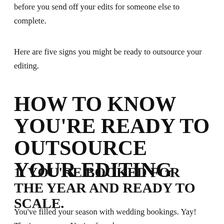before you send off your edits for someone else to complete.
Here are five signs you might be ready to outsource your editing.
HOW TO KNOW YOU'RE READY TO OUTSOURCE YOUR EDITING
1. YOU'RE BOOKED FOR THE YEAR AND READY TO SCALE.
You've filled your season with wedding bookings. Yay! That's awesome. You've found